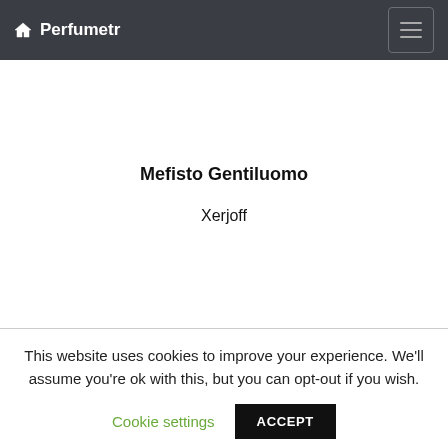🏠 Perfumetr
Mefisto Gentiluomo
Xerjoff
This website uses cookies to improve your experience. We'll assume you're ok with this, but you can opt-out if you wish.
Cookie settings  ACCEPT